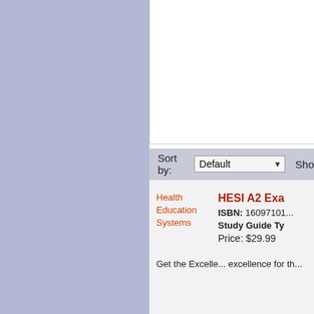Sort by: Default | Show
[Figure (screenshot): Health Education Systems logo/image placeholder with red text]
HESI A2 Exa...
ISBN: 16097101...
Study Guide Ty...
Price: $29.99
Get the Excelle... excellence for th...